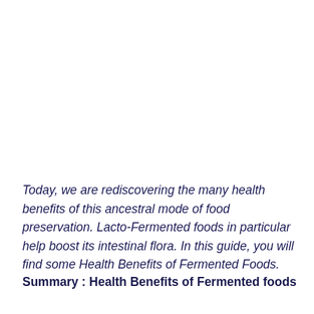Today, we are rediscovering the many health benefits of this ancestral mode of food preservation. Lacto-Fermented foods in particular help boost its intestinal flora. In this guide, you will find some Health Benefits of Fermented Foods.
Summary : Health Benefits of Fermented foods